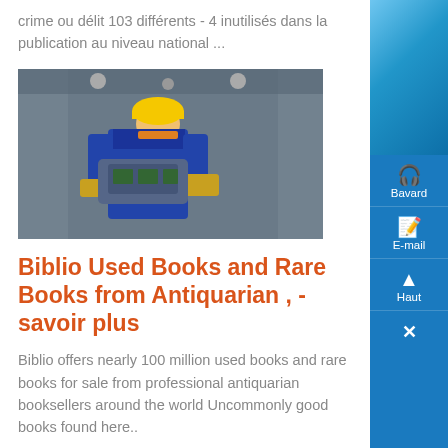crime ou délit 103 différents - 4 inutilisés dans la publication au niveau national ...
[Figure (photo): A worker in a blue jumpsuit and yellow hard hat using a power tool in an industrial setting]
Biblio Used Books and Rare Books from Antiquarian , - savoir plus
Biblio offers nearly 100 million used books and rare books for sale from professional antiquarian booksellers around the world Uncommonly good books found here..
[Figure (photo): Industrial machinery - large green turbine or motor equipment in a factory setting]